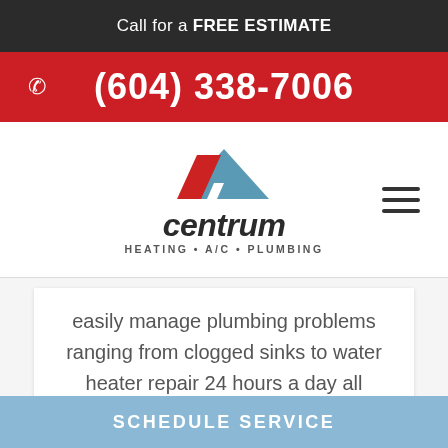Call for a FREE ESTIMATE
(604) 338-7006
[Figure (logo): Centrum Heating A/C Plumbing logo with red and blue chevron/roof icon above stylized italic 'centrum' wordmark]
easily manage plumbing problems ranging from clogged sinks to water heater repair 24 hours a day all over the Lower Mainland.
Learn more →
SCHEDULE SERVICE